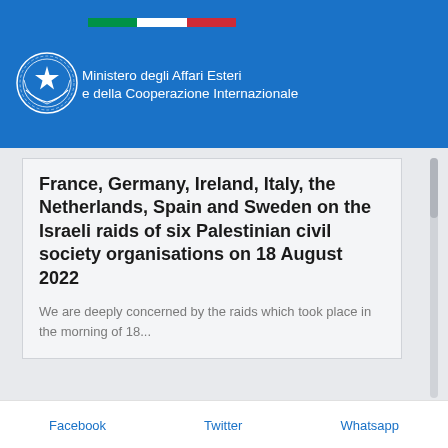Ministero degli Affari Esteri e della Cooperazione Internazionale
France, Germany, Ireland, Italy, the Netherlands, Spain and Sweden on the Israeli raids of six Palestinian civil society organisations on 18 August 2022
We are deeply concerned by the raids which took place in the morning of 18...
Facebook  Twitter  Whatsapp